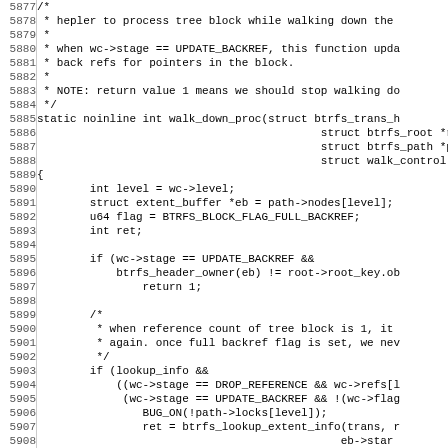Source code listing lines 5877-5908, showing walk_down_proc function definition in C